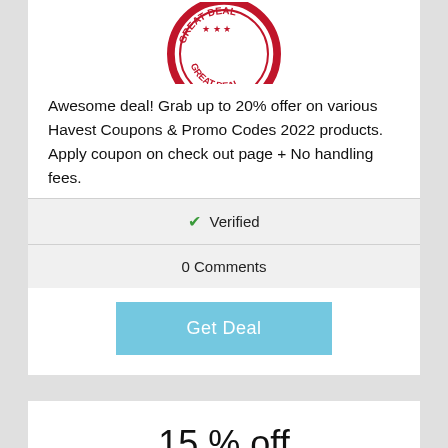[Figure (illustration): Partial red 'Great Deal' stamp/seal badge at top of first card]
Awesome deal! Grab up to 20% offer on various Havest Coupons & Promo Codes 2022 products. Apply coupon on check out page + No handling fees.
| ✔ Verified |
| 0 Comments |
Get Deal
15 % off
[Figure (illustration): Partial red 'Great Deal' stamp/seal badge at bottom of page]